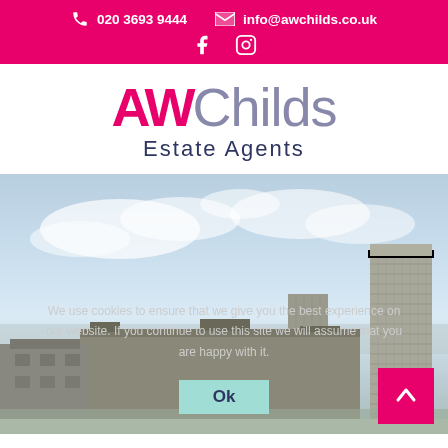020 3693 9444  info@awchilds.co.uk
AW Childs Estate Agents
[Figure (photo): Aerial/elevated cityscape photo showing urban buildings including a tall residential tower block on the right, mid-rise concrete buildings in the centre and left, under a bright overcast sky. Cookie consent overlay text visible on the image.]
We use cookies to ensure that we give you the best experience on our website. If you continue to use this site we will assume that you are happy with it.